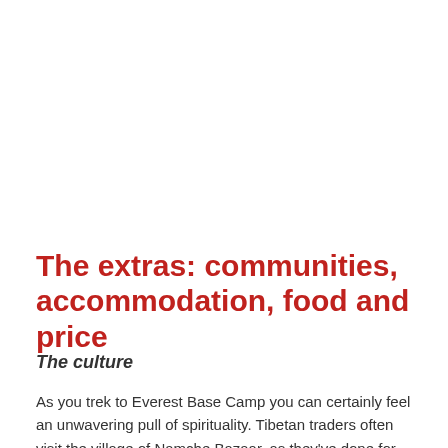The extras: communities, accommodation, food and price
The culture
As you trek to Everest Base Camp you can certainly feel an unwavering pull of spirituality. Tibetan traders often visit the village of Namche Bazaar, as they've done for centuries. The Annapurna circuit will take you through various rural settlements where small